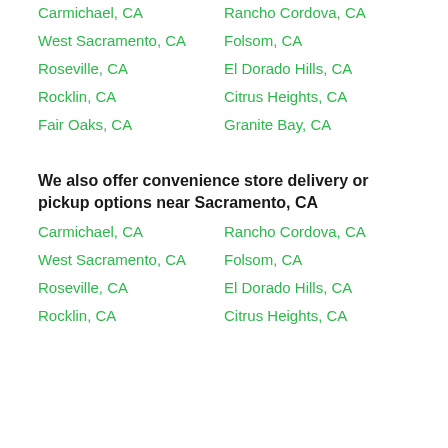Carmichael, CA
Rancho Cordova, CA
West Sacramento, CA
Folsom, CA
Roseville, CA
El Dorado Hills, CA
Rocklin, CA
Citrus Heights, CA
Fair Oaks, CA
Granite Bay, CA
We also offer convenience store delivery or pickup options near Sacramento, CA
Carmichael, CA
Rancho Cordova, CA
West Sacramento, CA
Folsom, CA
Roseville, CA
El Dorado Hills, CA
Rocklin, CA
Citrus Heights, CA